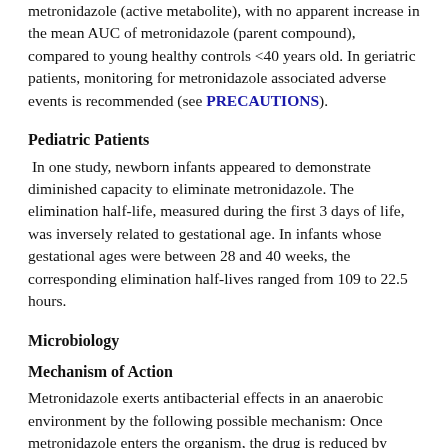metronidazole (active metabolite), with no apparent increase in the mean AUC of metronidazole (parent compound), compared to young healthy controls <40 years old. In geriatric patients, monitoring for metronidazole associated adverse events is recommended (see PRECAUTIONS).
Pediatric Patients
In one study, newborn infants appeared to demonstrate diminished capacity to eliminate metronidazole. The elimination half-life, measured during the first 3 days of life, was inversely related to gestational age. In infants whose gestational ages were between 28 and 40 weeks, the corresponding elimination half-lives ranged from 109 to 22.5 hours.
Microbiology
Mechanism of Action
Metronidazole exerts antibacterial effects in an anaerobic environment by the following possible mechanism: Once metronidazole enters the organism, the drug is reduced by intracellular electron transport proteins. Because of this alteration to the metronidazole molecule, a concentration gradient is created and maintained which promotes the drug's intracellular transport. Presumably, free radicals are formed which, in turn, react with cellular